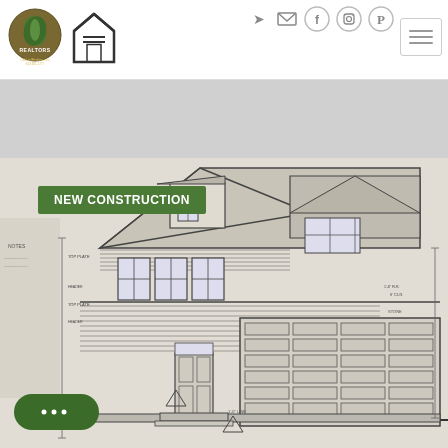[Figure (logo): Oak Leaf Realtors circular logo with leaf design and text 'OakLeafRealtors.com 813.361.1777']
[Figure (logo): Equal Housing Opportunity logo - house with equality symbol]
[Figure (screenshot): Website navigation icons: login arrow, envelope/email, Facebook, Instagram, Pinterest circles, and hamburger menu button]
[Figure (photo): Blueprint/architectural drawing of a two-story craftsman-style house with garage, labeled NEW CONSTRUCTION with a green badge overlay, and a green chat bubble button in the bottom left corner]